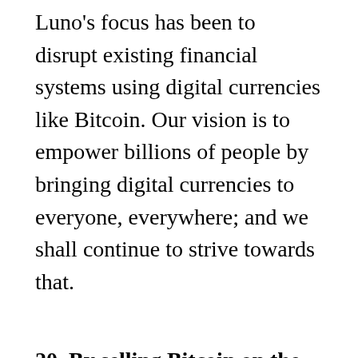Luno's focus has been to disrupt existing financial systems using digital currencies like Bitcoin. Our vision is to empower billions of people by bringing digital currencies to everyone, everywhere; and we shall continue to strive towards that.
20. By selling Bitcoin on the Luno exchange, does Luno charge the 1% on the entire txn value?